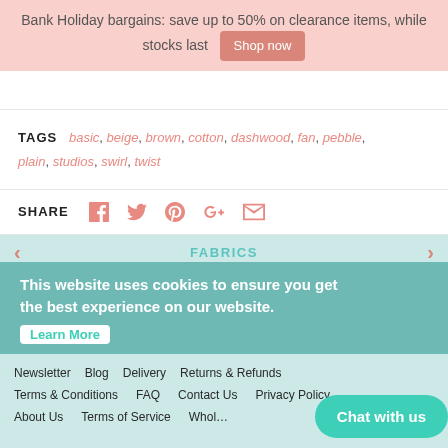Bank Holiday bargains: save up to 50% on clearance items, while stocks last  Shop now
TAGS  basic, beige, brown, cotton, dashwood, fan, pebble, plain, studios, swirl, twist
SHARE
FABRICS
This website uses cookies to ensure you get the best experience on our website.
Learn More
Newsletter  Blog  Delivery  Returns & Refunds  Terms & Conditions  FAQ  Contact Us  Privacy Policy  About Us  Terms of Service  Wholesale Policy